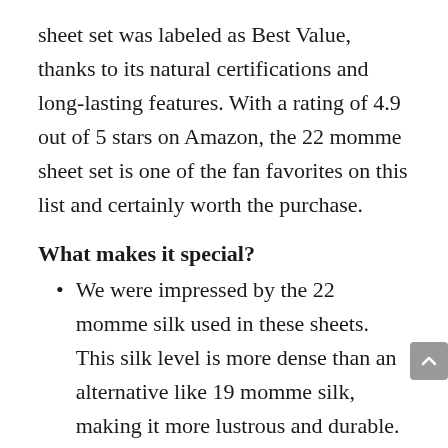sheet set was labeled as Best Value, thanks to its natural certifications and long-lasting features. With a rating of 4.9 out of 5 stars on Amazon, the 22 momme sheet set is one of the fan favorites on this list and certainly worth the purchase.
What makes it special?
We were impressed by the 22 momme silk used in these sheets. This silk level is more dense than an alternative like 19 momme silk, making it more lustrous and durable. 22 momme silk sheets typically last twice as long as sheets